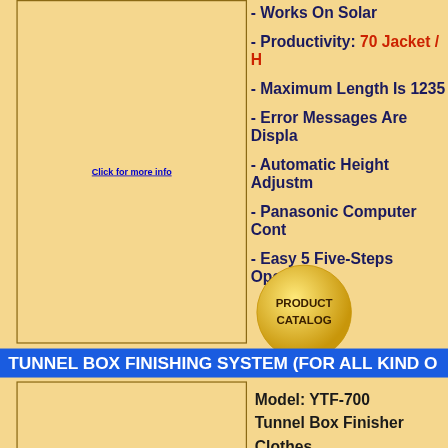Click for more info
- Works On Solar
- Productivity: 70 Jacket / H
- Maximum Length Is 1235
- Error Messages Are Displayed
- Automatic Height Adjustment
- Panasonic Computer Control
- Easy 5 Five-Steps Operation
[Figure (illustration): Product Catalog circular button/badge in gold/yellow color with text PRODUCT CATALOG]
TUNNEL BOX FINISHING SYSTEM (FOR ALL KIND OF)
Model: YTF-700
Tunnel Box Finisher Clothes